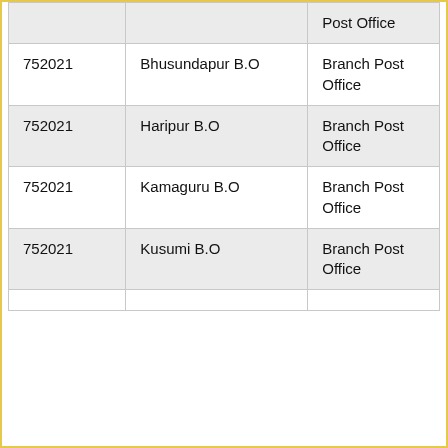|  |  | Post Office |
| 752021 | Bhusundapur B.O | Branch Post Office |
| 752021 | Haripur B.O | Branch Post Office |
| 752021 | Kamaguru B.O | Branch Post Office |
| 752021 | Kusumi B.O | Branch Post Office |
|  |  |  |